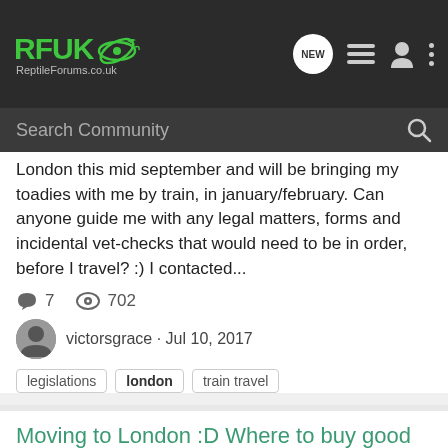RFUK ReptileForums.co.uk
London this mid september and will be bringing my toadies with me by train, in january/february. Can anyone guide me with any legal matters, forms and incidental vet-checks that would need to be in order, before I travel? :) I contacted...
7 replies · 702 views · victorsgrace · Jul 10, 2017
legislations | london | train travel
Moving to London :D Where to buy good feeders?
General Herp Chat
Hello everyone! :D I hope you're all doing well and awesome! Come mid January/start february 2018 I'm moving to London for the next 6 years! :D :2thumb: I'm bringing my two 2,5 year old...